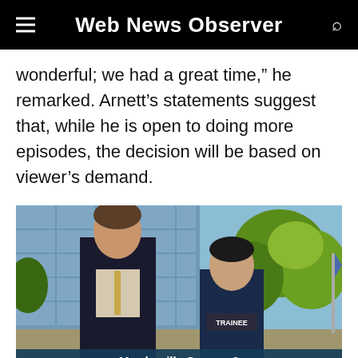Web News Observer
wonderful; we had a great time,” he remarked. Arnett’s statements suggest that, while he is open to doing more episodes, the decision will be based on viewer’s demand.
[Figure (photo): Two men standing outside a building. The taller man on the left is wearing a dark suit with a striped shirt and tie. The shorter man on the right is wearing a dark jacket with a 'TRAINEE' badge. Trees and a building are visible in the background.]
Murderville Season 2
NEXT →
As a result, Murderville Season 2 might be